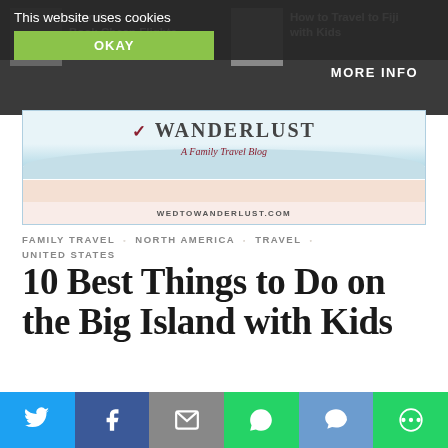[Figure (screenshot): Website screenshot showing cookie consent banner overlay on a travel blog, with 'OKAY' button in green and 'MORE INFO' link, the Wed to Wanderlust blog logo with water/beach illustration and tagline 'A Family Travel Blog', article category tags, article title '10 Best Things to Do on the Big Island with Kids', date 'JULY 17, 2021', partial teaser text, and social share bar at bottom.]
This website uses cookies
OKAY
MORE INFO
[Figure (logo): Wed to Wanderlust - A Family Travel Blog logo with beach/water illustration]
WEDTOWANDERLUST.COM
FAMILY TRAVEL ◦ NORTH AMERICA ◦ TRAVEL ◦ UNITED STATES
10 Best Things to Do on the Big Island with Kids
JULY 17, 2021